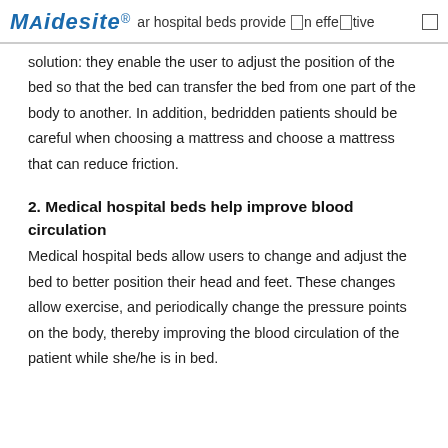MAidesite® ...ar hospital beds provide an effective
solution: they enable the user to adjust the position of the bed so that the bed can transfer the bed from one part of the body to another. In addition, bedridden patients should be careful when choosing a mattress and choose a mattress that can reduce friction.
2. Medical hospital beds help improve blood circulation
Medical hospital beds allow users to change and adjust the bed to better position their head and feet. These changes allow exercise, and periodically change the pressure points on the body, thereby improving the blood circulation of the patient while she/he is in bed.